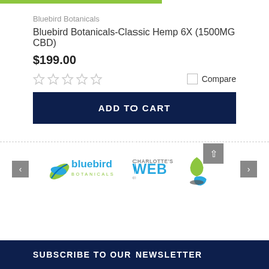Bluebird Botanicals
Bluebird Botanicals-Classic Hemp 6X (1500MG CBD)
$199.00
[Figure (other): Five empty star rating icons and a Compare checkbox]
[Figure (other): Add to Cart button (dark navy blue)]
[Figure (logo): Bluebird Botanicals logo with green and blue leaf icon and text]
[Figure (logo): Charlotte's Web logo with green and blue droplet/leaf icon]
SUBSCRIBE TO OUR NEWSLETTER